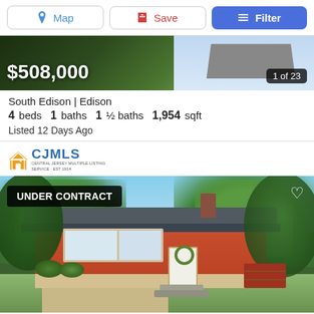Map | Save | Filter
[Figure (photo): Exterior thumbnail of house listing showing dark green/brown background, price $508,000, counter 1 of 23]
$508,000
South Edison | Edison
4 beds  1 baths  1 ½ baths  1,954 sqft
Listed 12 Days Ago
[Figure (logo): CJMLS - Central Jersey Multiple Listing Service logo with orange house icon]
[Figure (photo): Exterior photo of a red ranch-style house under contract, surrounded by green trees, with a white front door and chimney. Badge reads UNDER CONTRACT.]